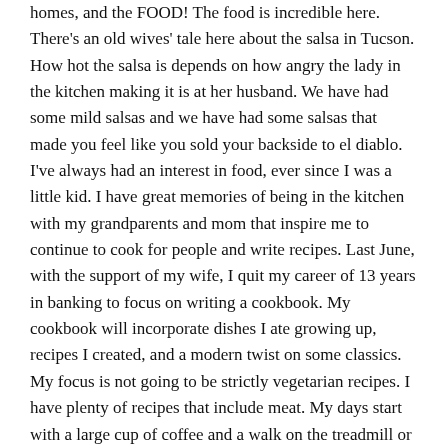homes, and the FOOD! The food is incredible here. There's an old wives' tale here about the salsa in Tucson. How hot the salsa is depends on how angry the lady in the kitchen making it is at her husband. We have had some mild salsas and we have had some salsas that made you feel like you sold your backside to el diablo. I've always had an interest in food, ever since I was a little kid. I have great memories of being in the kitchen with my grandparents and mom that inspire me to continue to cook for people and write recipes. Last June, with the support of my wife, I quit my career of 13 years in banking to focus on writing a cookbook. My cookbook will incorporate dishes I ate growing up, recipes I created, and a modern twist on some classics. My focus is not going to be strictly vegetarian recipes. I have plenty of recipes that include meat. My days start with a large cup of coffee and a walk on the treadmill or a hike through Saguaro National Park. It continues in the kitchen either testing a recipe, writing one, or working on my new website! The cookbook is taking longer than I anticipated, so I decided to start sharing my recipes online and to start to gather a following. Please feel free to reach out if you have any questions and don't forget to subscribe to never miss a recipe!